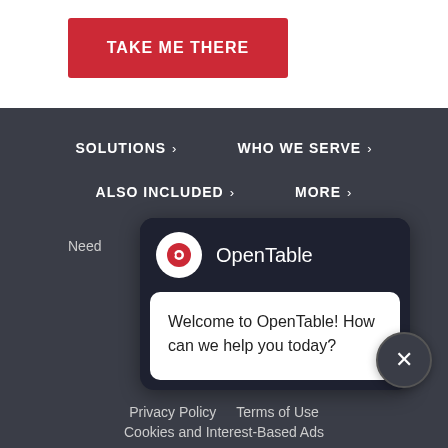[Figure (other): Red button with white bold text reading TAKE ME THERE]
SOLUTIONS >
WHO WE SERVE >
ALSO INCLUDED >
MORE >
Need
[Figure (other): OpenTable chat popup with logo and welcome message: Welcome to OpenTable! How can we help you today?]
Privacy Policy  Terms of Use  Cookies and Interest-Based Ads